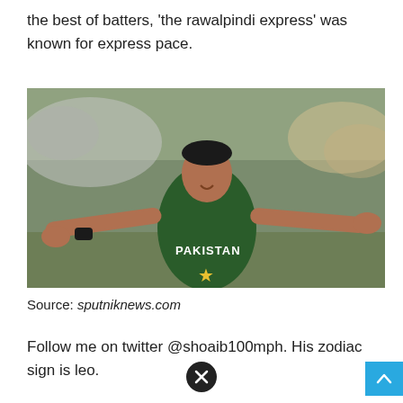the best of batters, 'the rawalpindi express' was known for express pace.
[Figure (photo): A Pakistani cricket player in green Pakistan jersey with arms outstretched, smiling, with a crowd in the background.]
Source: sputniknews.com
Follow me on twitter @shoaib100mph. His zodiac sign is leo.